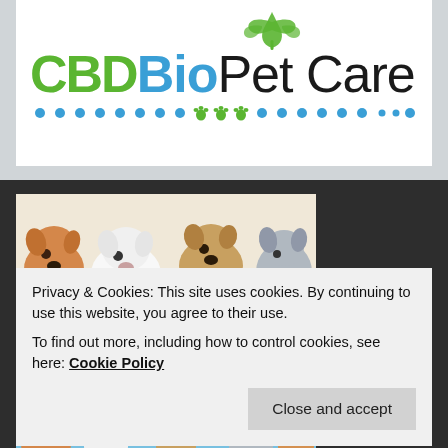[Figure (logo): CBD Bio Pet Care logo with green hemp leaf icon above, 'CBD' in green, 'Bio' in blue, 'Pet Care' in dark/black text, with decorative dot and paw-print divider line below]
[Figure (illustration): Cartoon illustration of various dog breeds clustered together in a colorful pattern]
Privacy & Cookies: This site uses cookies. By continuing to use this website, you agree to their use.
To find out more, including how to control cookies, see here: Cookie Policy
Close and accept